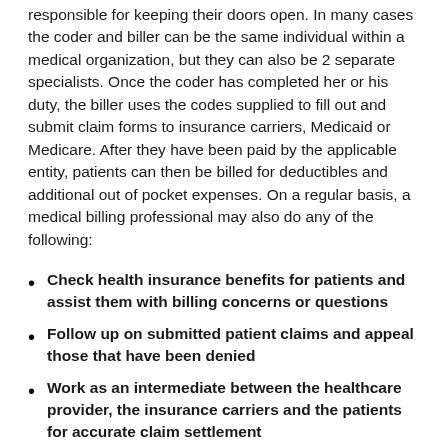responsible for keeping their doors open. In many cases the coder and biller can be the same individual within a medical organization, but they can also be 2 separate specialists. Once the coder has completed her or his duty, the biller uses the codes supplied to fill out and submit claim forms to insurance carriers, Medicaid or Medicare. After they have been paid by the applicable entity, patients can then be billed for deductibles and additional out of pocket expenses. On a regular basis, a medical billing professional may also do any of the following:
Check health insurance benefits for patients and assist them with billing concerns or questions
Follow up on submitted patient claims and appeal those that have been denied
Work as an intermediate between the healthcare provider, the insurance carriers and the patients for accurate claim settlement
Produce and oversee Accounts Receivables